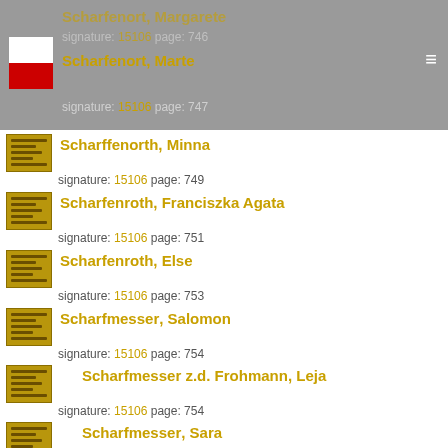Scharfenort, Margarete — signature: 15106 page: 746
Scharfenort, Marte — signature: 15106 page: 747
Scharffenorth, Minna — signature: 15106 page: 749
Scharfenroth, Franciszka Agata — signature: 15106 page: 751
Scharfenroth, Else — signature: 15106 page: 753
Scharfmesser, Salomon — signature: 15106 page: 754
Scharfmesser z.d. Frohmann, Leja — signature: 15106 page: 754
Scharfmesser, Sara — signature: 15106 page: 754
Scharfs, Marie — signature: 15106 page: 756
Szargan, Bernhard — signature: 15106 page: 757
Szargan z.d. Bukiewicz, Helene — signature: 15106 page: 757